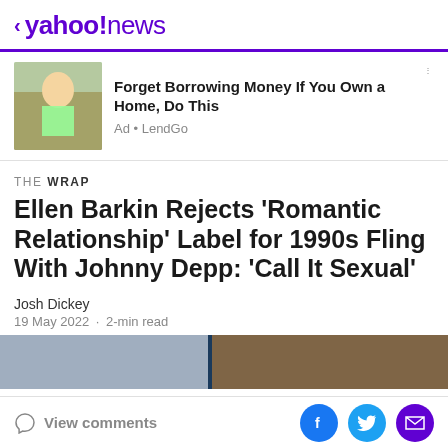< yahoo!news
[Figure (photo): Woman in green outfit standing outdoors]
Forget Borrowing Money If You Own a Home, Do This
Ad • LendGo
THE WRAP
Ellen Barkin Rejects 'Romantic Relationship' Label for 1990s Fling With Johnny Depp: 'Call It Sexual'
Josh Dickey
19 May 2022 · 2-min read
[Figure (photo): Article thumbnail images strip]
View comments